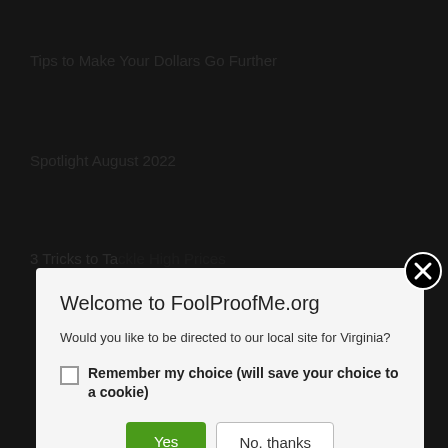Tips to Make Your Dollars Go Further
Spotlight August 2022
3 Tricks to Tackle High Prices
[Figure (screenshot): Modal dialog overlay on a dark background website. A close button (X in a circle) appears at the top right. The modal contains: title 'Welcome to FoolProofMe.org', body text 'Would you like to be directed to our local site for Virginia?', a checkbox labeled 'Remember my choice (will save your choice to a cookie)', and two buttons: 'Yes' (green) and 'No, thanks' (white outline).]
Enter your email address...
SUBSCRIBE
About FoolProofMe